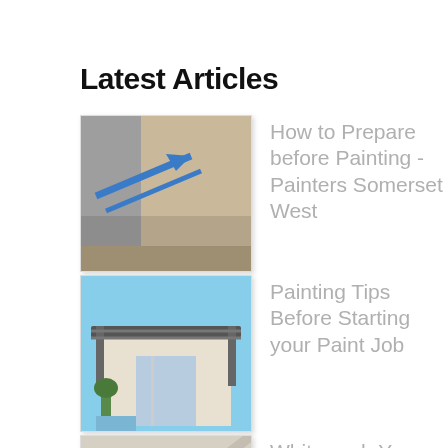Latest Articles
[Figure (photo): Thumbnail image showing blue painter's tape on a floor/baseboard corner]
How to Prepare before Painting - Painters Somerset West
[Figure (photo): Thumbnail image showing exterior of a house with covered patio/pergola]
Painting Tips Before Starting your Paint Job
[Figure (photo): Thumbnail image showing whitewashed wood ceiling or furniture with diagonal beams]
Whitewash Your Wood Ceilings or Furniture
Do-It-Yourself Home Painting Tasks